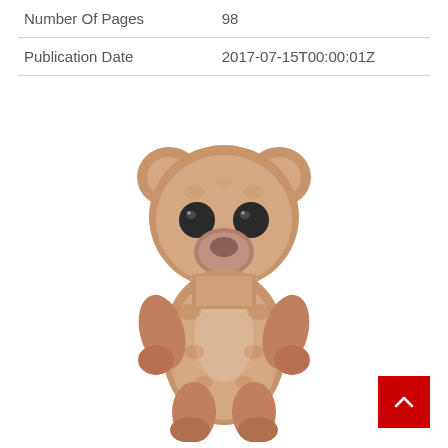|  |  |
| --- | --- |
| Number Of Pages | 98 |
| Publication Date | 2017-07-15T00:00:01Z |
[Figure (illustration): A Funko Pop style bear figurine with fluffy brown/tan fur texture, large round black eyes, a pinkish-brown nose, standing upright with small ears on top of head and small arms raised at sides.]